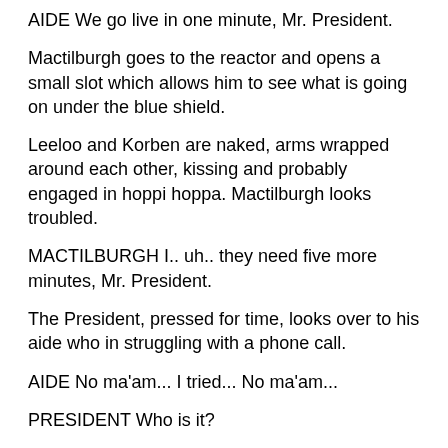AIDE We go live in one minute, Mr. President.
Mactilburgh goes to the reactor and opens a small slot which allows him to see what is going on under the blue shield.
Leeloo and Korben are naked, arms wrapped around each other, kissing and probably engaged in hoppi hoppa. Mactilburgh looks troubled.
MACTILBURGH I.. uh.. they need five more minutes, Mr. President.
The President, pressed for time, looks over to his aide who in struggling with a phone call.
AIDE No ma'am... I tried... No ma'am...
PRESIDENT Who is it?
AIDE Some woman... claims she's Korben's mother...
PRESIDENT Give it here...
The President takes the phone and goes to the window.